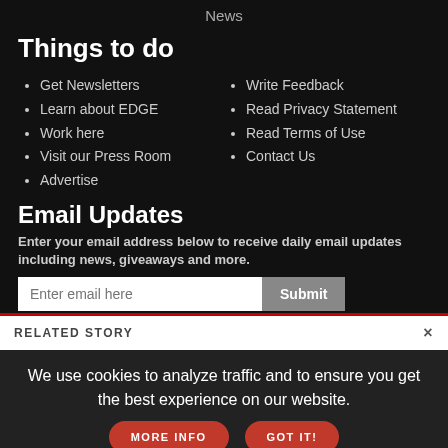News
Things to do
Get Newsletters
Learn about EDGE
Work here
Visit our Press Room
Advertise
Write Feedback
Read Privacy Statement
Read Terms of Use
Contact Us
Email Updates
Enter your email address below to receive daily email updates including news, giveaways and more.
RELATED STORY
We use cookies to analyze traffic and to ensure you get the best experience on our website.